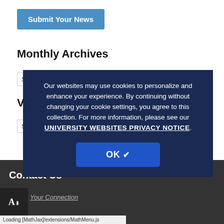Submit Your News
Monthly Archives
Select Month
View by Class Description
Select Category
Our websites may use cookies to personalize and enhance your experience. By continuing without changing your cookie settings, you agree to this collection. For more information, please see our UNIVERSITY WEBSITES PRIVACY NOTICE.
OK ✔
Contact Us
Your Connection
Loading [MathJax]/extensions/MathMenu.js